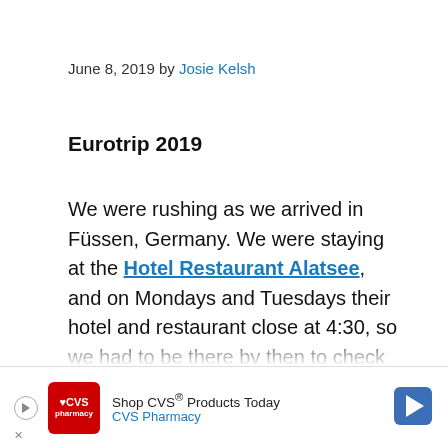June 8, 2019 by Josie Kelsh
Eurotrip 2019
We were rushing as we arrived in Füssen, Germany. We were staying at the Hotel Restaurant Alatsee, and on Mondays and Tuesdays their hotel and restaurant close at 4:30, so we had to be there by then to check in. We made it with only minutes to spare, and the poor girl was worried we wouldn't make it. She had been trying to call me, but I had forgotten
[Figure (other): CVS Pharmacy advertisement banner: Shop CVS® Products Today — CVS Pharmacy, with CVS logo and navigation arrow icon]